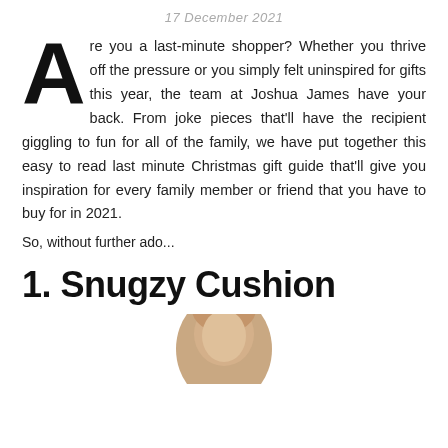17 December 2021
Are you a last-minute shopper? Whether you thrive off the pressure or you simply felt uninspired for gifts this year, the team at Joshua James have your back. From joke pieces that'll have the recipient giggling to fun for all of the family, we have put together this easy to read last minute Christmas gift guide that'll give you inspiration for every family member or friend that you have to buy for in 2021.
So, without further ado...
1. Snugzy Cushion
[Figure (photo): Partial photo of a person's head/face at the bottom of the page]